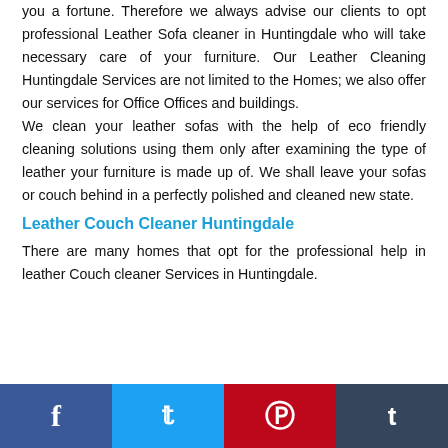you a fortune. Therefore we always advise our clients to opt professional Leather Sofa cleaner in Huntingdale who will take necessary care of your furniture. Our Leather Cleaning Huntingdale Services are not limited to the Homes; we also offer our services for Office Offices and buildings. We clean your leather sofas with the help of eco friendly cleaning solutions using them only after examining the type of leather your furniture is made up of. We shall leave your sofas or couch behind in a perfectly polished and cleaned new state.
Leather Couch Cleaner Huntingdale
There are many homes that opt for the professional help in leather Couch cleaner Services in Huntingdale.
Facebook | Twitter | Pinterest | Tumblr